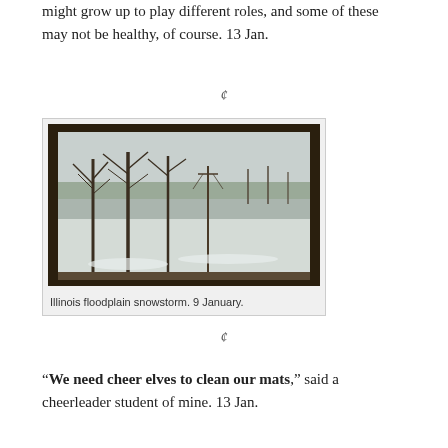might grow up to play different roles, and some of these may not be healthy, of course. 13 Jan.
c
[Figure (photo): View through a window of an Illinois floodplain during a snowstorm. Bare trees are visible in the background with snow-covered flat land. The window frame is dark wood. 9 January.]
Illinois floodplain snowstorm. 9 January.
c
“We need cheer elves to clean our mats,” said a cheerleader student of mine. 13 Jan.